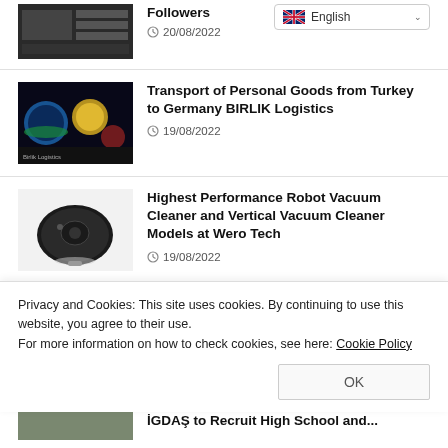English (language selector)
Followers
20/08/2022
Transport of Personal Goods from Turkey to Germany BIRLIK Logistics
19/08/2022
Highest Performance Robot Vacuum Cleaner and Vertical Vacuum Cleaner Models at Wero Tech
19/08/2022
What are Financial Markets?
Privacy and Cookies: This site uses cookies. By continuing to use this website, you agree to their use.
For more information on how to check cookies, see here: Cookie Policy
OK
İGDAŞ to Recruit High School and...